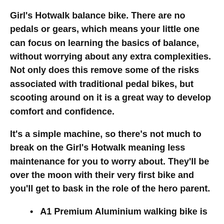Girl's Hotwalk balance bike. There are no pedals or gears, which means your little one can focus on learning the basics of balance, without worrying about any extra complexities. Not only does this remove some of the risks associated with traditional pedal bikes, but scooting around on it is a great way to develop comfort and confidence.
It's a simple machine, so there's not much to break on the Girl's Hotwalk meaning less maintenance for you to worry about. They'll be over the moon with their very first bike and you'll get to bask in the role of the hero parent.
A1 Premium Aluminium walking bike is